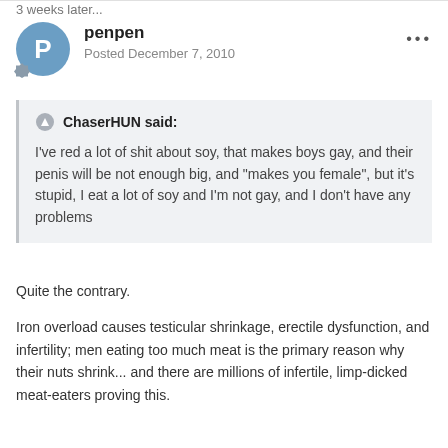3 weeks later...
penpen
Posted December 7, 2010
ChaserHUN said:

I've red a lot of shit about soy, that makes boys gay, and their penis will be not enough big, and "makes you female", but it's stupid, I eat a lot of soy and I'm not gay, and I don't have any problems
Quite the contrary.
Iron overload causes testicular shrinkage, erectile dysfunction, and infertility; men eating too much meat is the primary reason why their nuts shrink... and there are millions of infertile, limp-dicked meat-eaters proving this.